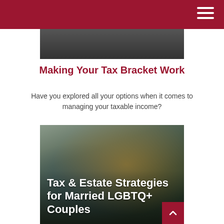[Figure (photo): Partial top image of a person at a desk, dark/cropped]
Making Your Tax Bracket Work
Have you explored all your options when it comes to managing your taxable income?
[Figure (photo): A couple (man and woman) smiling while looking at a laptop screen together. Text overlay reads: Tax & Estate Strategies for Married LGBTQ+ Couples]
Tax & Estate Strategies for Married LGBTQ+ Couples